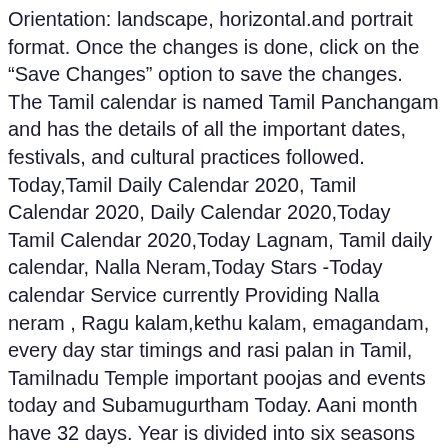Orientation: landscape, horizontal.and portrait format. Once the changes is done, click on the “Save Changes” option to save the changes. The Tamil calendar is named Tamil Panchangam and has the details of all the important dates, festivals, and cultural practices followed. Today,Tamil Daily Calendar 2020, Tamil Calendar 2020, Daily Calendar 2020,Today Tamil Calendar 2020,Today Lagnam, Tamil daily calendar, Nalla Neram,Today Stars -Today calendar Service currently Providing Nalla neram , Ragu kalam,kethu kalam, emagandam, every day star timings and rasi palan in Tamil, Tamilnadu Temple important poojas and events today and Subamugurtham Today. Aani month have 32 days. Year is divided into six seasons each lasting for two months. Get this beautiful 2020 november calendar with lovely typography and during a printable PDF format. To start receiving timely alerts, as shown below click on the Green “lock” icon next to the address bar. Aavani - Fifth month on tamil calendar. In our Online calendar section, Monthly Calendar and Yearly Calendar can be generated with some very useful